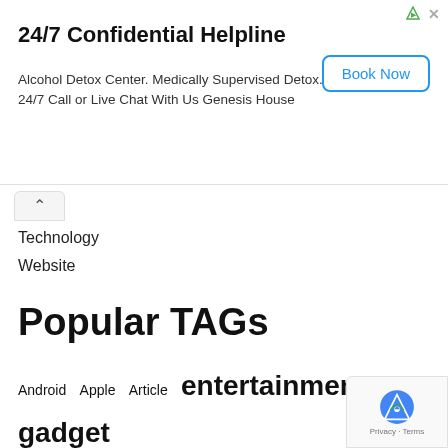[Figure (other): Advertisement banner for 24/7 Confidential Helpline - Alcohol Detox Center with Book Now button]
Technology
Website
Popular TAGs
Android  Apple  Article  entertainment  gadget  games  gaming  Google  guide  headphone  Laptop  Netflix  Ranking  review  Samsung  Secret  s...  smartphone  Tech News